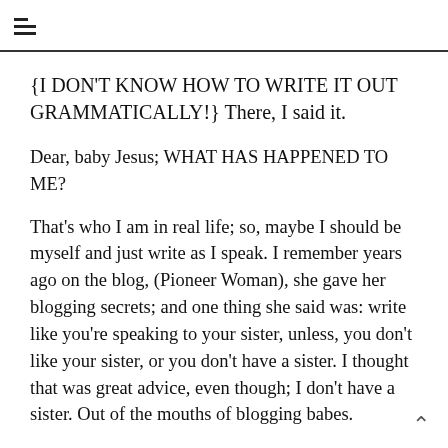≡ (menu icon)
{I DON'T KNOW HOW TO WRITE IT OUT GRAMMATICALLY!} There, I said it.
Dear, baby Jesus; WHAT HAS HAPPENED TO ME?
That's who I am in real life; so, maybe I should be myself and just write as I speak. I remember years ago on the blog, (Pioneer Woman), she gave her blogging secrets; and one thing she said was: write like you're speaking to your sister, unless, you don't like your sister, or you don't have a sister. I thought that was great advice, even though; I don't have a sister. Out of the mouths of blogging babes.
Basically, she's saying, speak as you do in real life. I still remember her saying that, and that was like, a